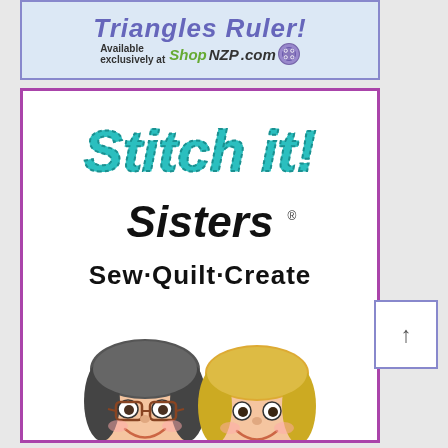[Figure (logo): Top banner ad showing 'Triangles Ruler' available exclusively at ShopNZP.com with button icon, purple border, light blue background]
[Figure (logo): Stitch it! Sisters logo and branding box with purple border, teal script 'Stitch it!' text, black italic 'Sisters' text, 'Sew·Quilt·Create' tagline, and cartoon illustrations of two women, one with dark hair and glasses and one with blonde hair]
[Figure (other): Small square scroll-up button with upward arrow on right side of page]